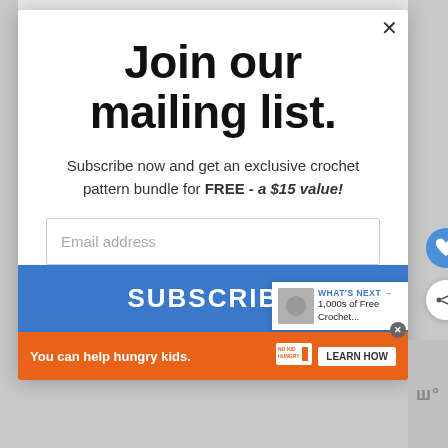Join our mailing list.
Subscribe now and get an exclusive crochet pattern bundle for FREE - a $15 value!
Email address
SUBSCRIBE
WHAT'S NEXT → 1,000s of Free Crochet...
You can help hungry kids.  NO KID HUNGRY  LEARN HOW